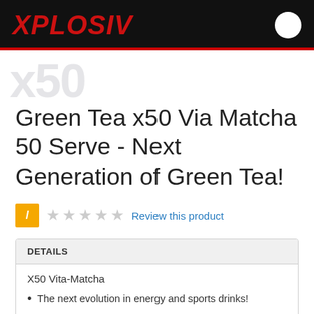XPLOSIV
[Figure (logo): XPLOSIV logo in red italic bold text on black background with a white circle on the right and a red bottom border stripe]
Green Tea x50 Via Matcha 50 Serve - Next Generation of Green Tea!
/ ★★★★★ Review this product
DETAILS
X50 Vita-Matcha
The next evolution in energy and sports drinks!